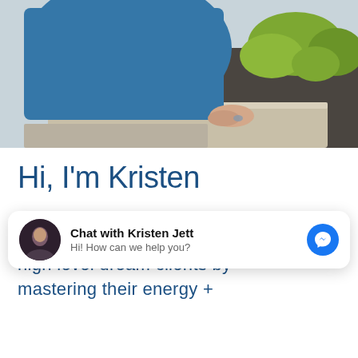[Figure (photo): Person wearing a blue outfit sitting on a stone ledge outdoors, with green shrubs in the background on the right side. Only the lower body and hands are visible.]
Hi, I'm Kristen
I help conscious leaders attract high level dream clients by mastering their energy + manifests.
[Figure (screenshot): Chat widget popup showing 'Chat with Kristen Jett' with avatar photo, subtitle 'Hi! How can we help you?' and a blue Messenger icon on the right.]